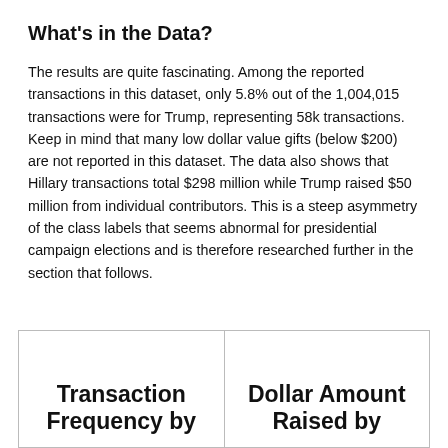What's in the Data?
The results are quite fascinating. Among the reported transactions in this dataset, only 5.8% out of the 1,004,015 transactions were for Trump, representing 58k transactions. Keep in mind that many low dollar value gifts (below $200) are not reported in this dataset. The data also shows that Hillary transactions total $298 million while Trump raised $50 million from individual contributors. This is a steep asymmetry of the class labels that seems abnormal for presidential campaign elections and is therefore researched further in the section that follows.
[Figure (other): Figure box containing two column labels: 'Transaction Frequency by' on the left and 'Dollar Amount Raised by' on the right, separated by a vertical line. The bottom portion of a chart figure.]